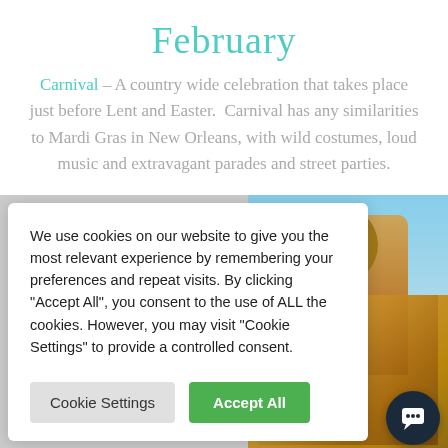February
Carnival – A country wide celebration that takes place just before Lent and Easter.  Carnival has any similarities to Mardi Gras in New Orleans, with wild costumes, loud music and extravagant parades and street parties.
We use cookies on our website to give you the most relevant experience by remembering your preferences and repeat visits. By clicking "Accept All", you consent to the use of ALL the cookies. However, you may visit "Cookie Settings" to provide a controlled consent.
[Figure (screenshot): Cookie consent dialog with Cookie Settings and Accept All buttons, overlaid on a carnival photo]